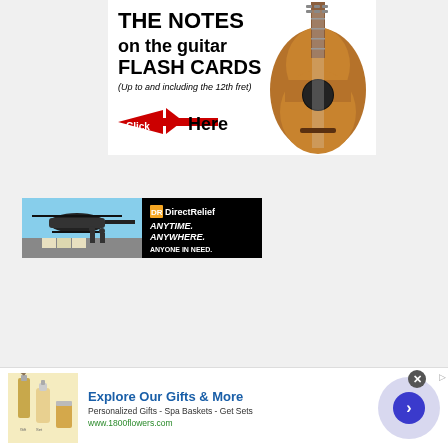[Figure (illustration): Advertisement for 'The Notes on the Guitar Flash Cards (Up to and including the 12th fret)' with Click Here call to action and image of a classical guitar]
[Figure (illustration): DirectRelief charity advertisement with helicopter photo on left and black panel on right reading 'DirectRelief ANYTIME. ANYWHERE. ANYONE IN NEED.']
[Figure (illustration): Bottom banner advertisement for 1800flowers.com: 'Explore Our Gifts & More - Personalized Gifts - Spa Baskets - Get Sets - www.1800flowers.com']